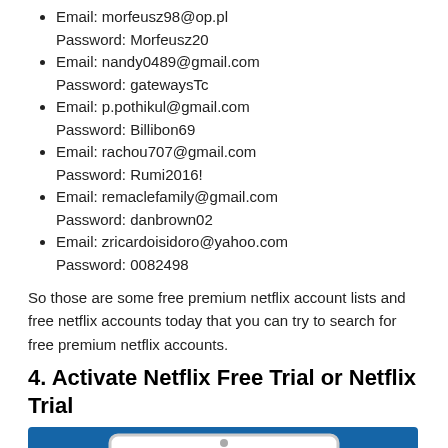Email: morfeusz98@op.pl
Password: Morfeusz20
Email: nandy0489@gmail.com
Password: gatewaysTc
Email: p.pothikul@gmail.com
Password: Billibon69
Email: rachou707@gmail.com
Password: Rumi2016!
Email: remaclefamily@gmail.com
Password: danbrown02
Email: zricardoisidoro@yahoo.com
Password: 0082498
So those are some free premium netflix account lists and free netflix accounts today that you can try to search for free premium netflix accounts.
4. Activate Netflix Free Trial or Netflix Trial
[Figure (screenshot): Screenshot of a laptop showing a dark screen, set against a blue background, partially visible at the bottom of the page.]